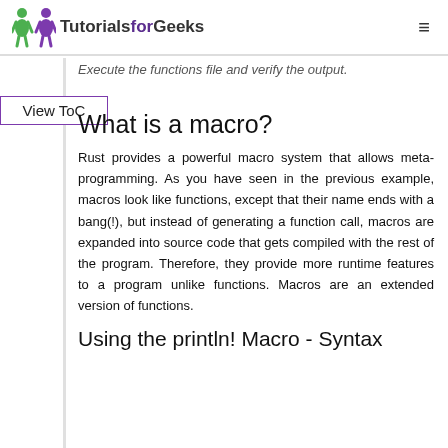TutorialsforGeeks
Execute the functions file and verify the output.
View ToC
What is a macro?
Rust provides a powerful macro system that allows meta-programming. As you have seen in the previous example, macros look like functions, except that their name ends with a bang(!), but instead of generating a function call, macros are expanded into source code that gets compiled with the rest of the program. Therefore, they provide more runtime features to a program unlike functions. Macros are an extended version of functions.
Using the println! Macro - Syntax